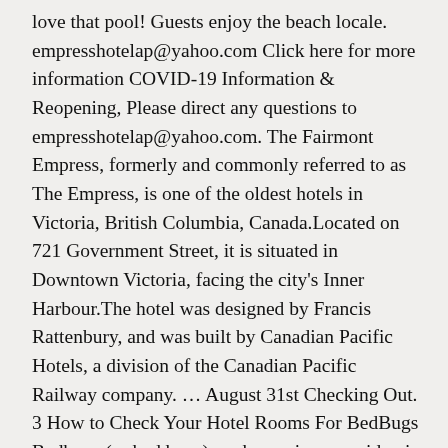love that pool! Guests enjoy the beach locale. empresshotelap@yahoo.com Click here for more information COVID-19 Information & Reopening, Please direct any questions to empresshotelap@yahoo.com. The Fairmont Empress, formerly and commonly referred to as The Empress, is one of the oldest hotels in Victoria, British Columbia, Canada.Located on 721 Government Street, it is situated in Downtown Victoria, facing the city's Inner Harbour.The hotel was designed by Francis Rattenbury, and was built by Canadian Pacific Hotels, a division of the Canadian Pacific Railway company. ... August 31st Checking Out. 3 How to Check Your Hotel Rooms For BedBugs Bedbugs (or bed bugs) are becoming an epidemic in hotel rooms throughout the United States. Liz Bug August 15, 2013. Check For / Report Bugs: Hotel name: City and state. So awesome. – See 120 traveller reviews, 91 candid photos, and great deals for Empress Inn & Suites at Tripadvisor. Our boutique hotel has no hidden fees and is the perfect location to embark on ... Empress Hotel, Asbury Park: See 336 traveller reviews, 81 photos, and great deals for